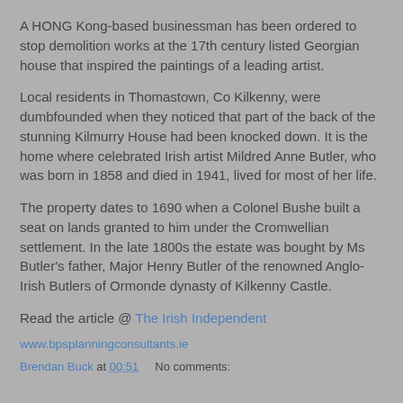A HONG Kong-based businessman has been ordered to stop demolition works at the 17th century listed Georgian house that inspired the paintings of a leading artist.
Local residents in Thomastown, Co Kilkenny, were dumbfounded when they noticed that part of the back of the stunning Kilmurry House had been knocked down. It is the home where celebrated Irish artist Mildred Anne Butler, who was born in 1858 and died in 1941, lived for most of her life.
The property dates to 1690 when a Colonel Bushe built a seat on lands granted to him under the Cromwellian settlement. In the late 1800s the estate was bought by Ms Butler's father, Major Henry Butler of the renowned Anglo-Irish Butlers of Ormonde dynasty of Kilkenny Castle.
Read the article @ The Irish Independent
www.bpsplanningconsultants.ie
Brendan Buck at 00:51    No comments: